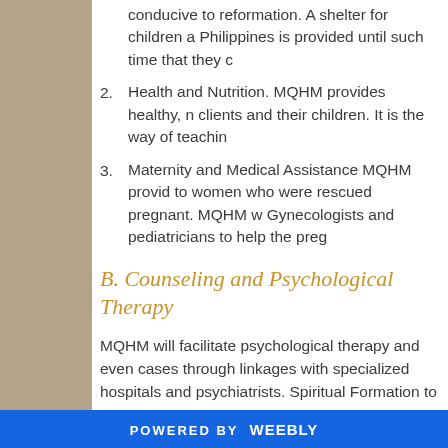conducive to reformation. A shelter for children a Philippines is provided until such time that they c
Health and Nutrition. MQHM provides healthy, n clients and their children. It is the way of teachin
Maternity and Medical Assistance MQHM provid to women who were rescued pregnant. MQHM w Gynecologists and pediatricians to help the preg
B. Counseling and Psychological Therapy
MQHM will facilitate psychological therapy and even cases through linkages with specialized hospitals and psychiatrists. Spiritual Formation to complete the ove provide regular spiritual guidance and counseling thro formation, and group therapy. To hasten their psychol familial warmth, love, respect and understanding will be provided and maintained. Close
POWERED BY weebly